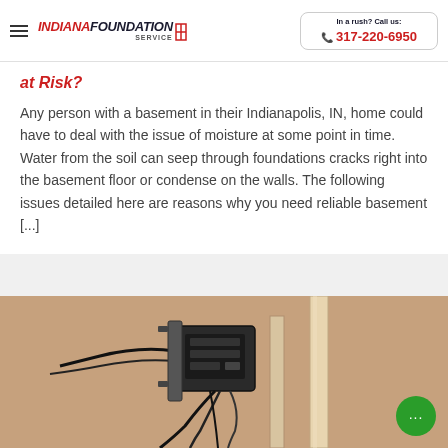Indiana Foundation Service | In a rush? Call us: 317-220-6950
at Risk?
Any person with a basement in their Indianapolis, IN, home could have to deal with the issue of moisture at some point in time. Water from the soil can seep through foundations cracks right into the basement floor or condense on the walls. The following issues detailed here are reasons why you need reliable basement [...]
[Figure (photo): Photo of basement equipment — sump pump system with wiring and pipes mounted on a tan/beige basement wall]